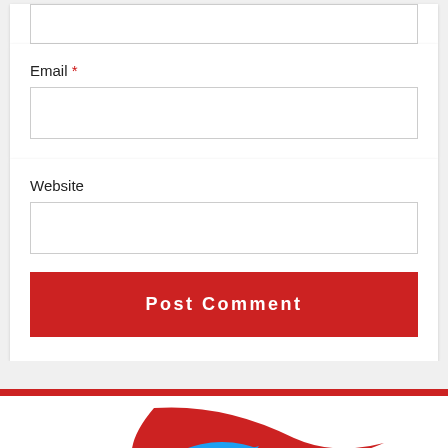Email *
Website
Post Comment
[Figure (logo): Website logo with red swoosh and blue bird element]
Social share bar: Facebook, Twitter, LinkedIn, Pinterest, Share